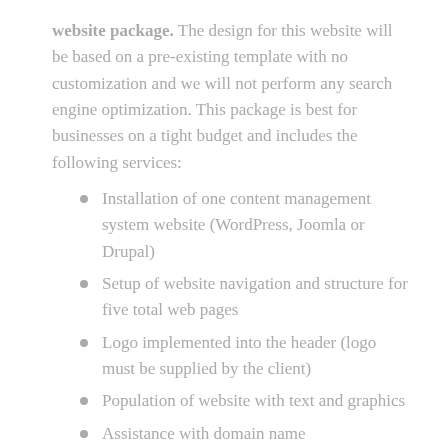website package. The design for this website will be based on a pre-existing template with no customization and we will not perform any search engine optimization. This package is best for businesses on a tight budget and includes the following services:
Installation of one content management system website (WordPress, Joomla or Drupal)
Setup of website navigation and structure for five total web pages
Logo implemented into the header (logo must be supplied by the client)
Population of website with text and graphics
Assistance with domain name